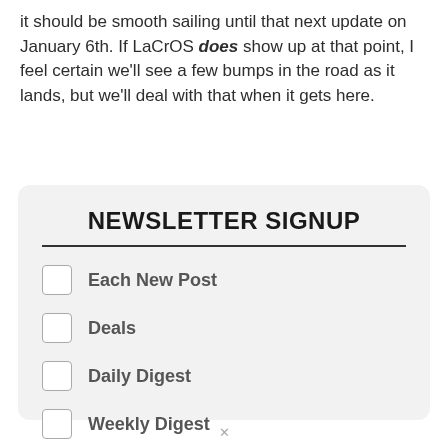it should be smooth sailing until that next update on January 6th. If LaCrOS does show up at that point, I feel certain we'll see a few bumps in the road as it lands, but we'll deal with that when it gets here.
NEWSLETTER SIGNUP
Each New Post
Deals
Daily Digest
Weekly Digest